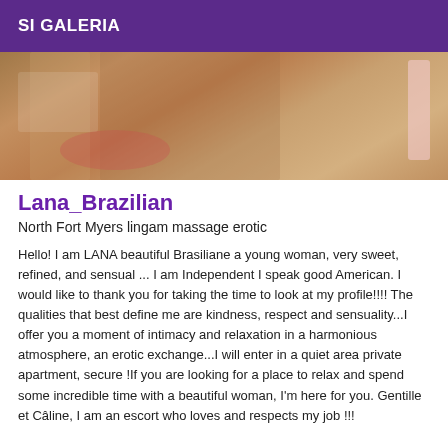SI GALERIA
[Figure (photo): Bathroom photo showing a person, partial view]
Lana_Brazilian
North Fort Myers lingam massage erotic
Hello! I am LANA beautiful Brasiliane a young woman, very sweet, refined, and sensual ... I am Independent I speak good American. I would like to thank you for taking the time to look at my profile!!!! The qualities that best define me are kindness, respect and sensuality...I offer you a moment of intimacy and relaxation in a harmonious atmosphere, an erotic exchange...I will enter in a quiet area private apartment, secure !If you are looking for a place to relax and spend some incredible time with a beautiful woman, I'm here for you. Gentille et Câline, I am an escort who loves and respects my job !!! I am an erotic being at your service and...